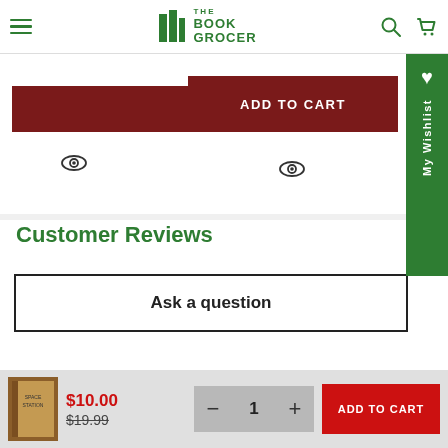The Book Grocer
[Figure (screenshot): Dark red button (partially visible) and two eye icons on product page]
ADD TO CART
Customer Reviews
Ask a question
$10.00 $19.99 1 ADD TO CART